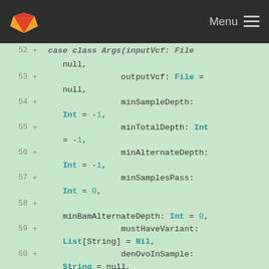GitLab — Menu
Code diff showing lines 52-62 of a Scala/functional file with parameters: outputVcf: File = null, minSampleDepth: Int = -1, minTotalDepth: Int = -1, minAlternateDepth: Int = -1, minSamplesPass: Int = 0, minBamAlternateDepth: Int = 0, mustHaveVariant: List[String] = Nil, denOvoInSample: String = null, notSameGenotype: List[(String, String)] = Nil